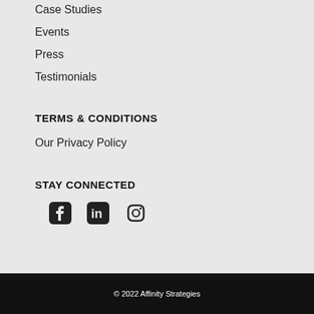Case Studies
Events
Press
Testimonials
TERMS & CONDITIONS
Our Privacy Policy
STAY CONNECTED
[Figure (illustration): Social media icons: Facebook, LinkedIn, Instagram]
© 2022 Affinity Strategies